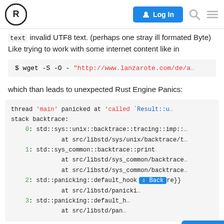Rust Forum — Log In
text invalid UTF8 text. (perhaps one stray ill formated Byte) Like trying to work with some internet content like in
[Figure (screenshot): Code block showing: $ wget -S -O - "http://www.lanzarote.com/de/a..."]
which than leads to unexpected Rust Engine Panics:
[Figure (screenshot): Code block showing Rust thread panic and stack backtrace with entries 0:, 1:, 2:, 3: for std::sys::unix::backtrace::tracing::imp, std::sys_common::backtrace::print, std::panicking::default_hook entries with source file locations.]